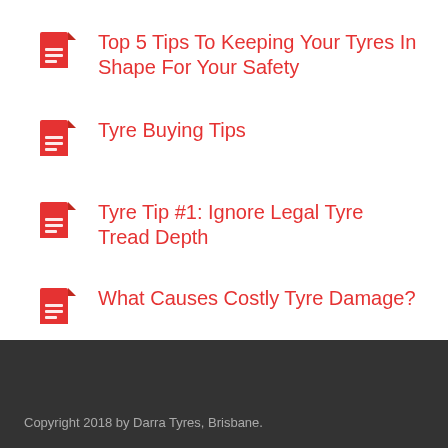Top 5 Tips To Keeping Your Tyres In Shape For Your Safety
Tyre Buying Tips
Tyre Tip #1: Ignore Legal Tyre Tread Depth
What Causes Costly Tyre Damage?
Copyright 2018 by Darra Tyres, Brisbane.